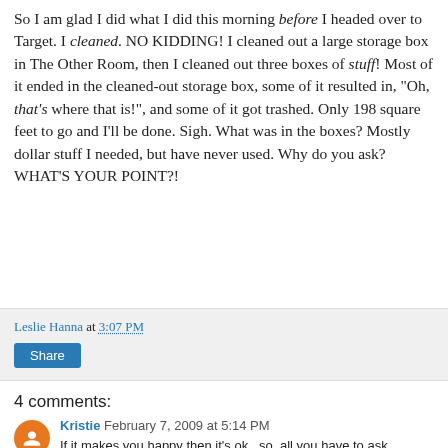So I am glad I did what I did this morning before I headed over to Target. I cleaned. NO KIDDING! I cleaned out a large storage box in The Other Room, then I cleaned out three boxes of stuff! Most of it ended in the cleaned-out storage box, some of it resulted in, "Oh, that's where that is!", and some of it got trashed. Only 198 square feet to go and I'll be done. Sigh. What was in the boxes? Mostly dollar stuff I needed, but have never used. Why do you ask? WHAT'S YOUR POINT?!
Leslie Hanna at 3:07 PM
Share
4 comments:
Kristie  February 7, 2009 at 5:14 PM
If it makes you happy then it's ok...so, all you have to ask yourself is, "will buying this make me happy?" If the answer is yes, then THAT'S THE POINT!!!! {that's my excuse and